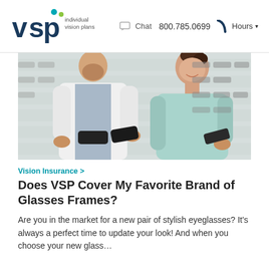VSP Individual Vision Plans | Chat  800.785.0699  Hours
[Figure (photo): An optometrist in a white coat and a female patient smiling, both holding glasses frames in front of a wall of eyeglass displays in an optical shop.]
Vision Insurance >
Does VSP Cover My Favorite Brand of Glasses Frames?
Are you in the market for a new pair of stylish eyeglasses? It's always a perfect time to update your look! And when you choose your new glass…